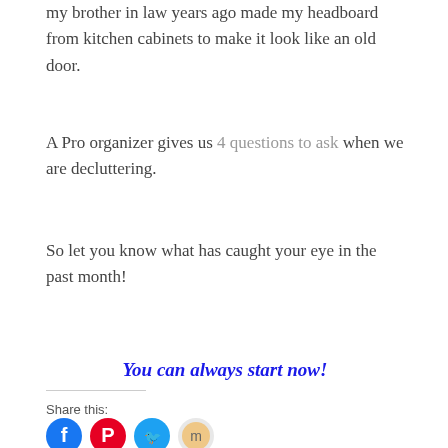my brother in law years ago made my headboard from kitchen cabinets to make it look like an old door.
A Pro organizer gives us 4 questions to ask when we are decluttering.
So let you know what has caught your eye in the past month!
You can always start now!
Share this:
[Figure (illustration): Social media share icons: Facebook (blue circle), Pinterest (red circle), Twitter (teal circle), one more partially visible icon (orange/grey circle)]